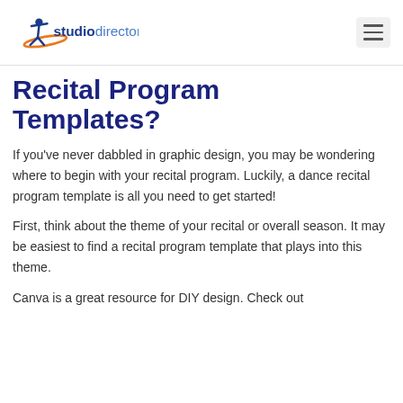studio director
Recital Program Templates?
If you’ve never dabbled in graphic design, you may be wondering where to begin with your recital program. Luckily, a dance recital program template is all you need to get started!
First, think about the theme of your recital or overall season. It may be easiest to find a recital program template that plays into this theme.
Canva is a great resource for DIY design. Check out